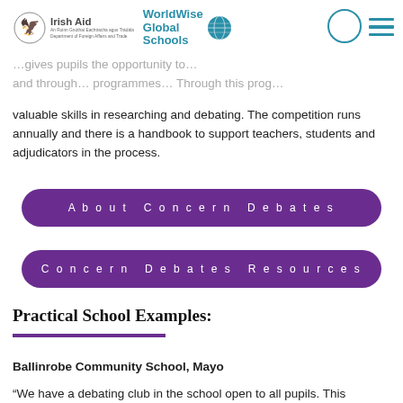Irish Aid | WorldWise Global Schools
valuable skills in researching and debating. The competition runs annually and there is a handbook to support teachers, students and adjudicators in the process.
About Concern Debates
Concern Debates Resources
Practical School Examples:
Ballinrobe Community School, Mayo
“We have a debating club in the school open to all pupils. This